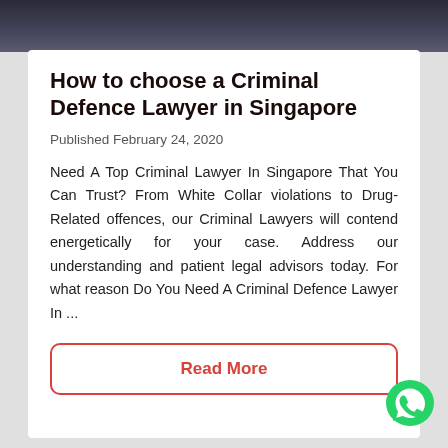[Figure (photo): Dark photo strip at top showing a person in formal attire, partially cropped]
How to choose a Criminal Defence Lawyer in Singapore
Published February 24, 2020
Need A Top Criminal Lawyer In Singapore That You Can Trust? From White Collar violations to Drug-Related offences, our Criminal Lawyers will contend energetically for your case. Address our understanding and patient legal advisors today. For what reason Do You Need A Criminal Defence Lawyer In ...
Read More